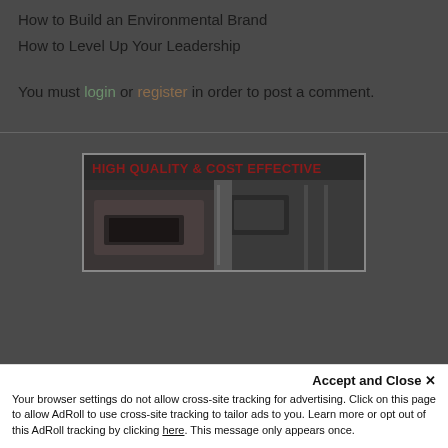How to Build an Environmental Brand
How to Level Up Your Leadership
You must login or register in order to post a comment.
[Figure (photo): Advertisement banner with red bold text 'HIGH QUALITY & COST EFFECTIVE' over a dark image of a person working on a vehicle interior]
Accept and Close ✕
Your browser settings do not allow cross-site tracking for advertising. Click on this page to allow AdRoll to use cross-site tracking to tailor ads to you. Learn more or opt out of this AdRoll tracking by clicking here. This message only appears once.